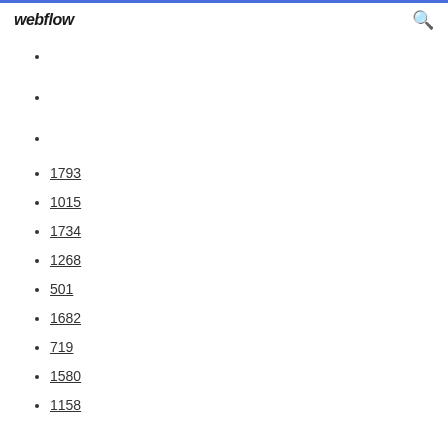webflow [search icon]
1793
1015
1734
1268
501
1682
719
1580
1158